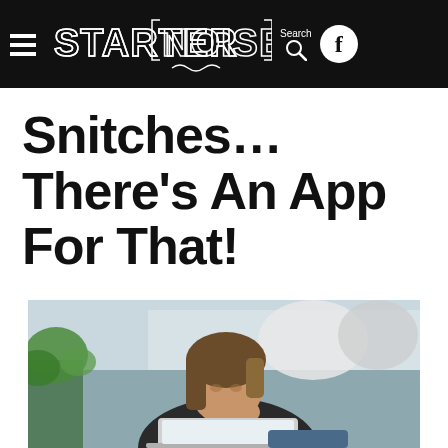STARTERNOISE
Snitches... There’s An App For That!
[Figure (photo): Young woman with short brown hair sitting on a couch, leaning on her hand, looking down at an open laptop. Green plant visible on the left side, white brick wall and cushions in background.]